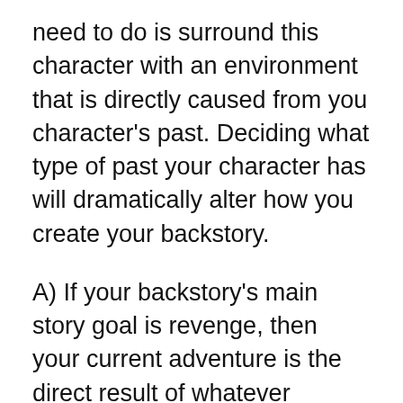need to do is surround this character with an environment that is directly caused from you character's past. Deciding what type of past your character has will dramatically alter how you create your backstory.
A) If your backstory's main story goal is revenge, then your current adventure is the direct result of whatever altercation caused your character to wish to seek revenge. Revenge stories are incredibly fun to write and for an audience to read. This style backstory is often very well